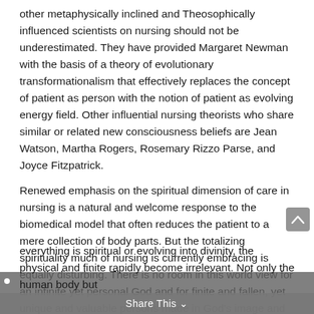other metaphysically inclined and Theosophically influenced scientists on nursing should not be underestimated. They have provided Margaret Newman with the basis of a theory of evolutionary transformationalism that effectively replaces the concept of patient as person with the notion of patient as evolving energy field. Other influential nursing theorists who share similar or related new consciousness beliefs are Jean Watson, Martha Rogers, Rosemary Rizzo Parse, and Joyce Fitzpatrick.
Renewed emphasis on the spiritual dimension of care in nursing is a natural and welcome response to the biomedical model that often reduces the patient to a mere collection of body parts. But the totalizing spirituality much of nursing is currently embracing is equally disturbing. There is no room in this world view for an infinite yet personal God and for finite and fallen, yet unique and valuable persons made in God's image and likeness. If everything is spiritual or evolving into divinity, the physical and finite rapidly become irrelevant. Not only the human body but